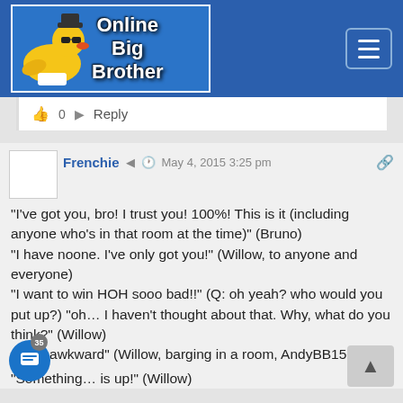[Figure (logo): Online Big Brother website logo with rubber duck wearing sunglasses and hat on blue background]
0   Reply
Frenchie  May 4, 2015 3:25 pm
"I've got you, bro! I trust you! 100%! This is it (including anyone who's in that room at the time)" (Bruno)
"I have noone. I've only got you!" (Willow, to anyone and everyone)
"I want to win HOH sooo bad!!" (Q: oh yeah? who would you put up?) "oh… I haven't thought about that. Why, what do you think?" (Willow)
…s is awkward" (Willow, barging in a room, AndyBB15-style)
"Something… is up!" (Willow)